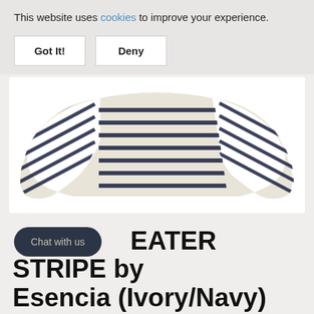This website uses cookies to improve your experience.
Got It!
Deny
[Figure (photo): An off-shoulder striped sweater in ivory/cream with navy horizontal stripes, displayed flat against a white background. The sweater has long sleeves and a wide off-shoulder neckline.]
Chat with us
EATER STRIPE by Esencia (Ivory/Navy)